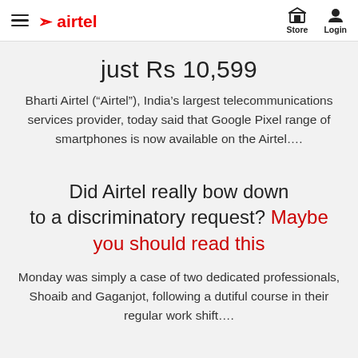airtel | Store | Login
just Rs 10,599
Bharti Airtel (“Airtel”), India’s largest telecommunications services provider, today said that Google Pixel range of smartphones is now available on the Airtel....
Did Airtel really bow down to a discriminatory request? Maybe you should read this
Monday was simply a case of two dedicated professionals, Shoaib and Gaganjot, following a dutiful course in their regular work shift....